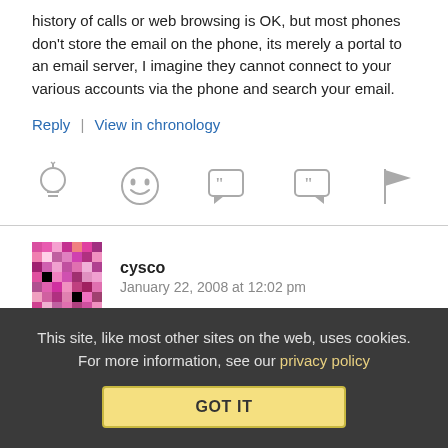history of calls or web browsing is OK, but most phones don't store the email on the phone, its merely a portal to an email server, I imagine they cannot connect to your various accounts via the phone and search your email.
Reply | View in chronology
[Figure (infographic): Row of five gray action icons: lightbulb, laughing face, speech bubble with open-quote, speech bubble with close-quote, flag]
cysco   January 22, 2008 at 12:02 pm
Rights
This site, like most other sites on the web, uses cookies. For more information, see our privacy policy  GOT IT